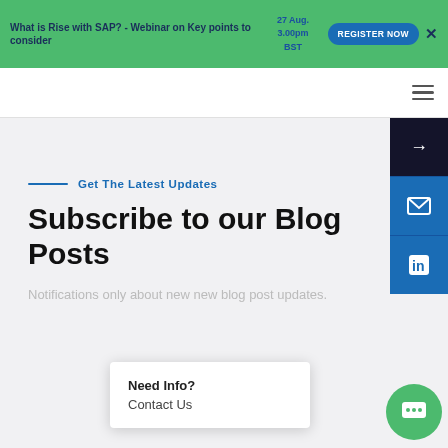What is Rise with SAP? - Webinar on Key points to consider 27 Aug. 3.00pm BST REGISTER NOW ×
Subscribe to our Blog Posts
Get The Latest Updates
Notifications only about new new blog post updates.
Need Info? Contact Us